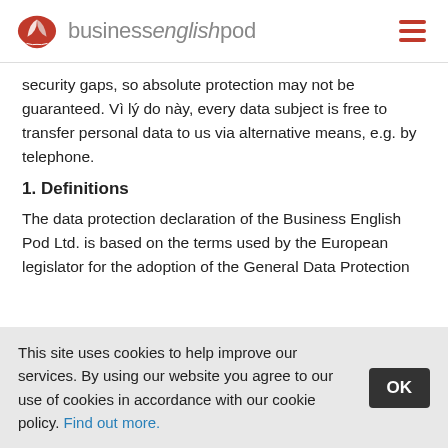businessenglishpod
security gaps, so absolute protection may not be guaranteed. Vì lý do này, every data subject is free to transfer personal data to us via alternative means, e.g. by telephone.
1. Definitions
The data protection declaration of the Business English Pod Ltd. is based on the terms used by the European legislator for the adoption of the General Data Protection
This site uses cookies to help improve our services. By using our website you agree to our use of cookies in accordance with our cookie policy. Find out more.